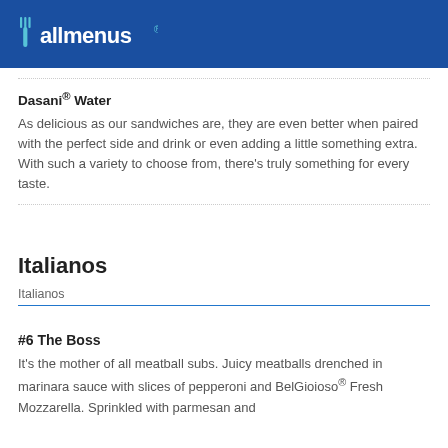[Figure (logo): allmenus logo — white fork and knife icon with 'allmenus' text in white on blue background]
Dasani® Water
As delicious as our sandwiches are, they are even better when paired with the perfect side and drink or even adding a little something extra. With such a variety to choose from, there's truly something for every taste.
Italianos
Italianos
#6 The Boss
It's the mother of all meatball subs. Juicy meatballs drenched in marinara sauce with slices of pepperoni and BelGioioso® Fresh Mozzarella. Sprinkled with parmesan and